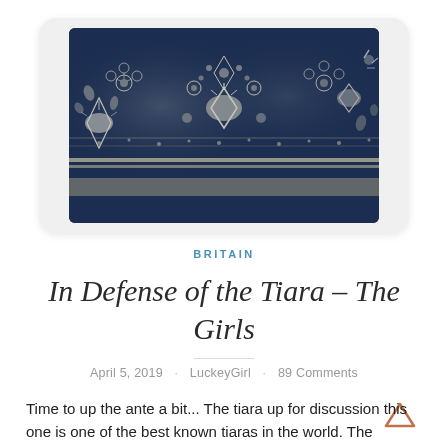[Figure (photo): Close-up photograph of an ornate diamond tiara with intricate floral and scrollwork patterns set against a dark navy blue background. The tiara features large brilliant-cut diamonds and detailed metalwork.]
BRITAIN
In Defense of the Tiara – The Girls
April 5, 2019 · LuckeyGirl · 89 Comments
Time to up the ante a bit... The tiara up for discussion this one is one of the best known tiaras in the world. The